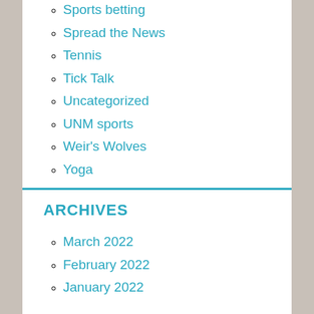Sports betting
Spread the News
Tennis
Tick Talk
Uncategorized
UNM sports
Weir's Wolves
Yoga
ARCHIVES
March 2022
February 2022
January 2022